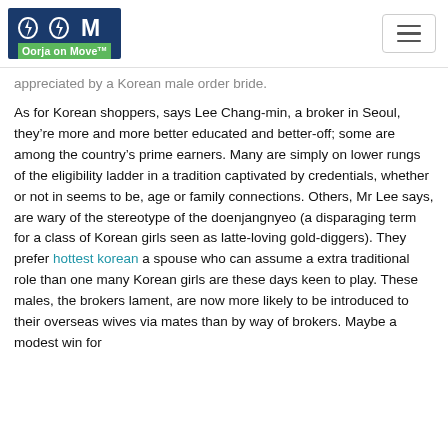Oorja on Move
appreciated by a Korean male order bride.
As for Korean shoppers, says Lee Chang-min, a broker in Seoul, they’re more and more better educated and better-off; some are among the country’s prime earners. Many are simply on lower rungs of the eligibility ladder in a tradition captivated by credentials, whether or not in seems to be, age or family connections. Others, Mr Lee says, are wary of the stereotype of the doenjangnyeo (a disparaging term for a class of Korean girls seen as latte-loving gold-diggers). They prefer hottest korean a spouse who can assume a extra traditional role than one many Korean girls are these days keen to play. These males, the brokers lament, are now more likely to be introduced to their overseas wives via mates than by way of brokers. Maybe a modest win for